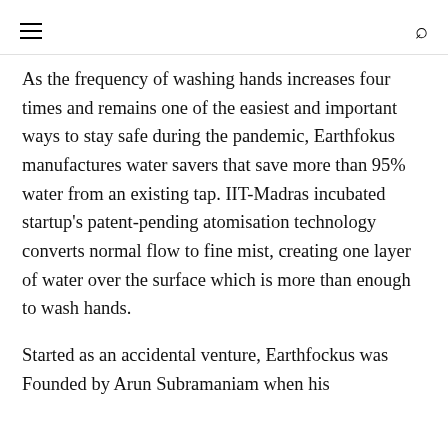≡  🔍
As the frequency of washing hands increases four times and remains one of the easiest and important ways to stay safe during the pandemic, Earthfokus manufactures water savers that save more than 95% water from an existing tap. IIT-Madras incubated startup's patent-pending atomisation technology converts normal flow to fine mist, creating one layer of water over the surface which is more than enough to wash hands.
Started as an accidental venture, Earthfockus was Founded by Arun Subramaniam when his